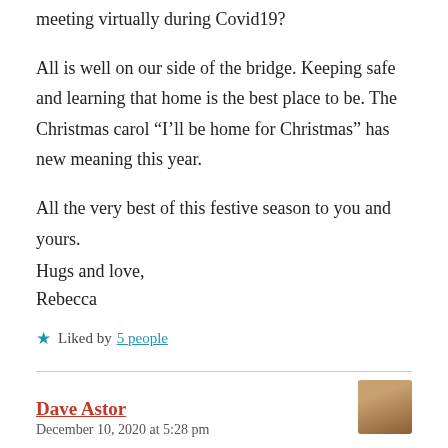meeting virtually during Covid19?
All is well on our side of the bridge. Keeping safe and learning that home is the best place to be. The Christmas carol “I’ll be home for Christmas” has new meaning this year.
All the very best of this festive season to you and yours.
Hugs and love,
Rebecca
★ Liked by 5 people
Dave Astor
December 10, 2020 at 5:28 pm